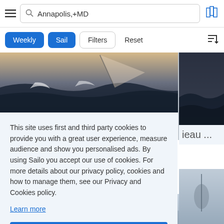[Figure (screenshot): Mobile app navigation bar with hamburger menu, search field showing 'Annapolis,+MD', and map icon]
[Figure (screenshot): Filter bar with blue 'Weekly' and 'Sail' buttons, outlined 'Filters' and 'Reset' buttons, and sort icon]
[Figure (photo): Sailing boat on ocean waters, partial view at top of page]
This site uses first and third party cookies to provide you with a great user experience, measure audience and show you personalised ads. By using Sailo you accept our use of cookies. For more details about our privacy policy, cookies and how to manage them, see our Privacy and Cookies policy.
Learn more
Got it!